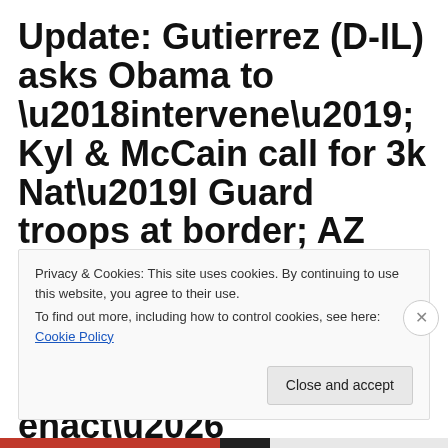Update: Gutierrez (D-IL) asks Obama to ‘intervene’; Kyl & McCain call for 3k Nat’l Guard troops at border; AZ Illegal Immigration enforcement bill goes to Gov Brewer for signature by Sunday to enact…
Privacy & Cookies: This site uses cookies. By continuing to use this website, you agree to their use.
To find out more, including how to control cookies, see here: Cookie Policy